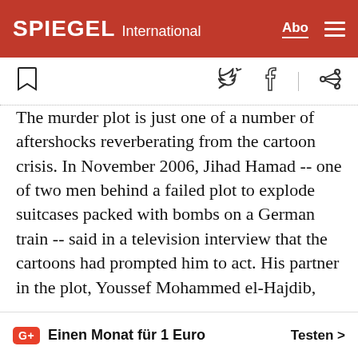SPIEGEL International
The murder plot is just one of a number of aftershocks reverberating from the cartoon crisis. In November 2006, Jihad Hamad -- one of two men behind a failed plot to explode suitcases packed with bombs on a German train -- said in a television interview that the cartoons had prompted him to act. His partner in the plot, Youssef Mohammed el-Hajdib, reiterated that claim in a German court last week.
Denmark's National Library recently announced
G+ Einen Monat für 1 Euro  Testen >